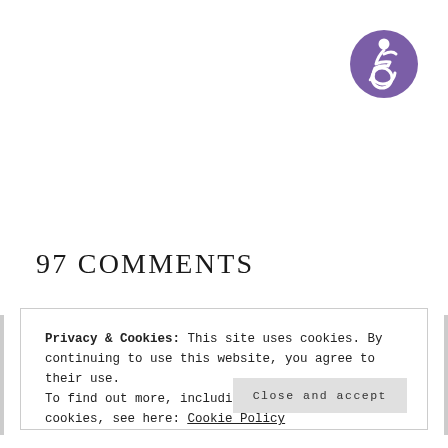[Figure (logo): Purple circular accessibility icon showing a person in a wheelchair, white figure on purple background]
97 COMMENTS
Privacy & Cookies: This site uses cookies. By continuing to use this website, you agree to their use.
To find out more, including how to control cookies, see here: Cookie Policy
Close and accept